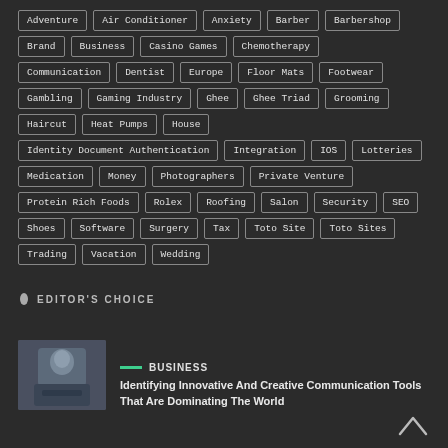Adventure
Air Conditioner
Anxiety
Barber
Barbershop
Brand
Business
Casino Games
Chemotherapy
Communication
Dentist
Europe
Floor Mats
Footwear
Gambling
Gaming Industry
Ghee
Ghee Triad
Grooming
Haircut
Heat Pumps
House
Identity Document Authentication
Integration
IOS
Lotteries
Medication
Money
Photographers
Private Venture
Protein Rich Foods
Rolex
Roofing
Salon
Security
SEO
Shoes
Software
Surgery
Tax
Toto Site
Toto Sites
Trading
Vacation
Wedding
EDITOR'S CHOICE
BUSINESS
Identifying Innovative And Creative Communication Tools That Are Dominating The World